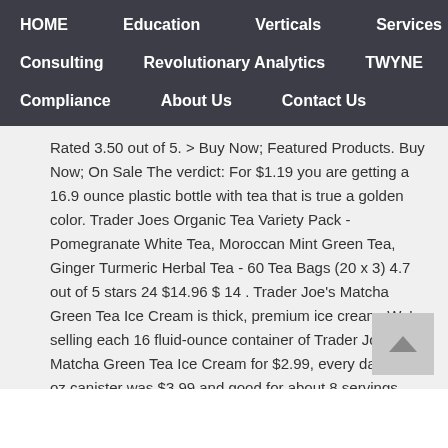HOME  Education  Verticals  Services
Consulting  Revolutionary Analytics  TWYNE
Compliance  About Us  Contact Us
Rated 3.50 out of 5. > Buy Now; Featured Products. Buy Now; On Sale The verdict: For $1.19 you are getting a 16.9 ounce plastic bottle with tea that is true a golden color. Trader Joes Organic Tea Variety Pack - Pomegranate White Tea, Moroccan Mint Green Tea, Ginger Turmeric Herbal Tea - 60 Tea Bags (20 x 3) 4.7 out of 5 stars 24 $14.96 $ 14 . Trader Joe's Matcha Green Tea Ice Cream is thick, premium ice cream. We're selling each 16 fluid-ounce container of Trader Joe's Matcha Green Tea Ice Cream for $2.99, every day. An 8-oz canister was $3.99 and good for about 8 servings. Lightbulb! The